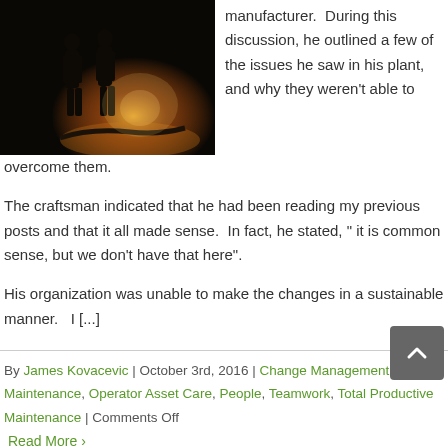[Figure (photo): Dark silhouette photo of figures standing with bright backlight, industrial/fire scene]
manufacturer.  During this discussion, he outlined a few of the issues he saw in his plant, and why they weren't able to overcome them.
The craftsman indicated that he had been reading my previous posts and that it all made sense.  In fact, he stated, " it is common sense, but we don't have that here".
His organization was unable to make the changes in a sustainable manner.   I [...]
By James Kovacevic | October 3rd, 2016 | Change Management, Lean Maintenance, Operator Asset Care, People, Teamwork, Total Productive Maintenance | Comments Off
Read More >